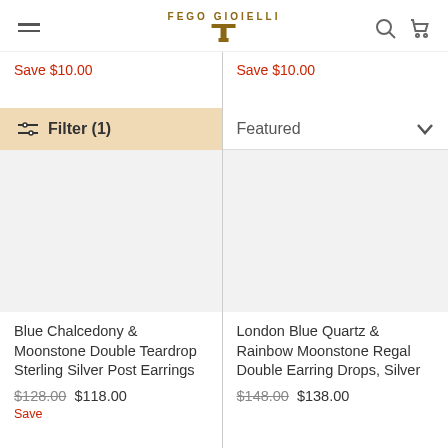FEGO GIOIELLI
Save $10.00
Save $10.00
Filter (1)
Featured
Blue Chalcedony & Moonstone Double Teardrop Sterling Silver Post Earrings
$128.00  $118.00
London Blue Quartz & Rainbow Moonstone Regal Double Earring Drops, Silver
$148.00  $138.00